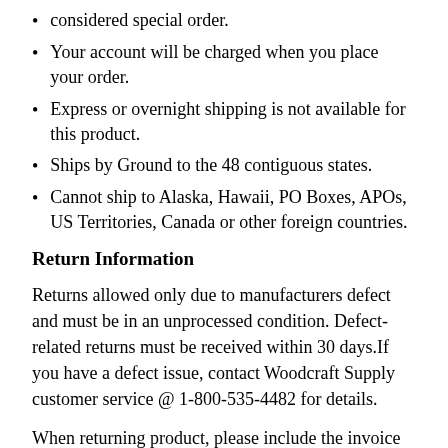considered special order.
Your account will be charged when you place your order.
Express or overnight shipping is not available for this product.
Ships by Ground to the 48 contiguous states.
Cannot ship to Alaska, Hawaii, PO Boxes, APOs, US Territories, Canada or other foreign countries.
Return Information
Returns allowed only due to manufacturers defect and must be in an unprocessed condition. Defect-related returns must be received within 30 days.If you have a defect issue, contact Woodcraft Supply customer service @ 1-800-535-4482 for details.
When returning product, please include the invoice number or customer number and refer to the back of the invoice for shipping instructions.
If purchased at a Woodcraft Store, please return the item directly to the store where you made your purchase.